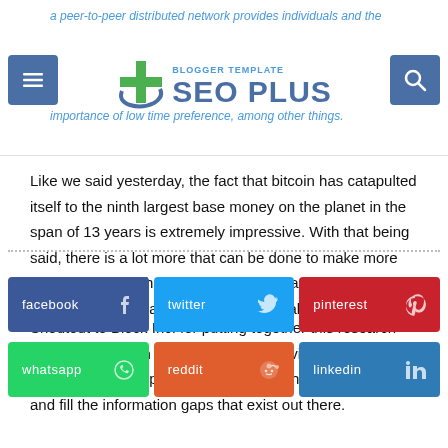a peer-to-peer distributed network provides individuals and the importance of low time preference, among other things.
Like we said yesterday, the fact that bitcoin has catapulted itself to the ninth largest base money on the planet in the span of 13 years is extremely impressive. With that being said, there is a lot more that can be done to make more people aware of the importance and beauty of bitcoin as we continue our transition into the Digital Age.
Shoutout to Block Inc. for putting together this research and sharing it with the public. It has provided Bitcoiners with a progress report that allows us to hone our focus and fill the information gaps that exist out there.